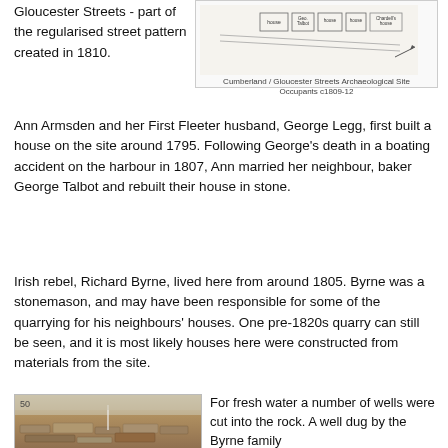Gloucester Streets - part of the regularised street pattern created in 1810.
[Figure (map): Map/plan of Cumberland / Gloucester Streets Archaeological Site showing occupants c1809-12]
Cumberland / Gloucester Streets Archaeological Site
Occupants c1809-12
Ann Armsden and her First Fleeter husband, George Legg, first built a house on the site around 1795. Following George's death in a boating accident on the harbour in 1807, Ann married her neighbour, baker George Talbot and rebuilt their house in stone.
Irish rebel, Richard Byrne, lived here from around 1805. Byrne was a stonemason, and may have been responsible for some of the quarrying for his neighbours' houses. One pre-1820s quarry can still be seen, and it is most likely houses here were constructed from materials from the site.
[Figure (photo): Archaeological excavation photo showing stone foundations and rock-cut features at the Cumberland/Gloucester Streets site]
For fresh water a number of wells were cut into the rock. A well dug by the Byrne family